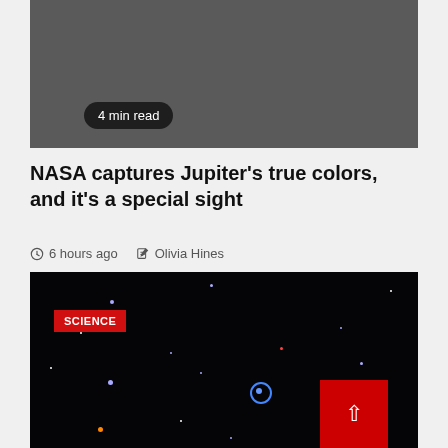[Figure (photo): Dark gray image area at top of page with a '4 min read' badge overlay]
NASA captures Jupiter’s true colors, and it’s a special sight
6 hours ago   Olivia Hines
[Figure (photo): Dark space image showing stars and a faint ring-shaped galaxy against a black background, with a SCIENCE category badge in red at top left and a back-to-top arrow button in red at bottom right]